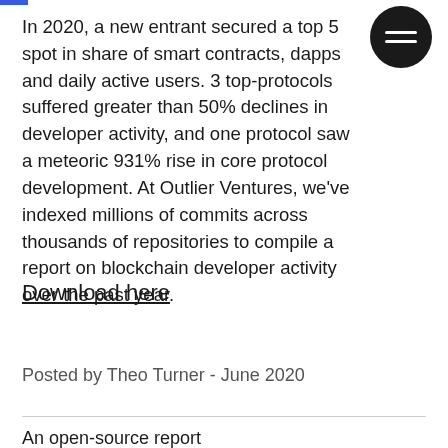In 2020, a new entrant secured a top 5 spot in share of smart contracts, dapps and daily active users. 3 top-protocols suffered greater than 50% declines in developer activity, and one protocol saw a meteoric 931% rise in core protocol development. At Outlier Ventures, we've indexed millions of commits across thousands of repositories to compile a report on blockchain developer activity over the past year.
Download here
Posted by Theo Turner - June 2020
An open-source report